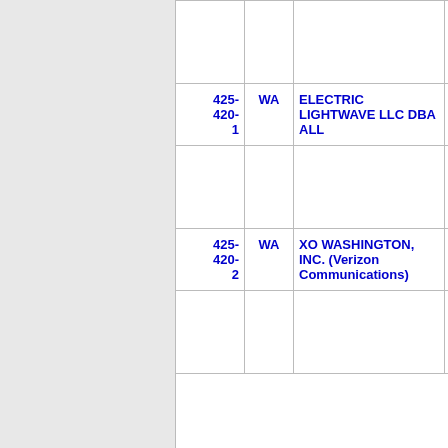| ID | State | Company | Num |
| --- | --- | --- | --- |
|  |  |  |  |
| 425-
420-
1 | WA | ELECTRIC LIGHTWAVE LLC DBA ALL | 71 |
|  |  |  |  |
| 425-
420-
2 | WA | XO WASHINGTON, INC. (Verizon Communications) | 73 |
|  |  |  |  |